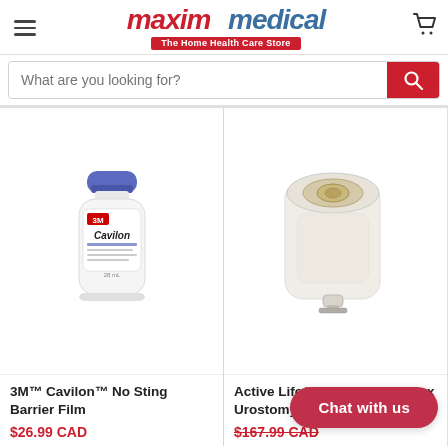[Figure (logo): Maxim Medical - The Home Health Care Store logo with hamburger menu and cart icon]
What are you looking for?
[Figure (photo): 3M Cavilon No Sting Barrier Film product bottle (blue cap, white bottle)]
3M™ Cavilon™ No Sting Barrier Film
$26.99 CAD
[Figure (photo): Active Life One-Piece Convex Urostomy Pouch product image]
Active Life® One-Piece Convex Urostomy Pouch
$167.99 CAD
Chat with us